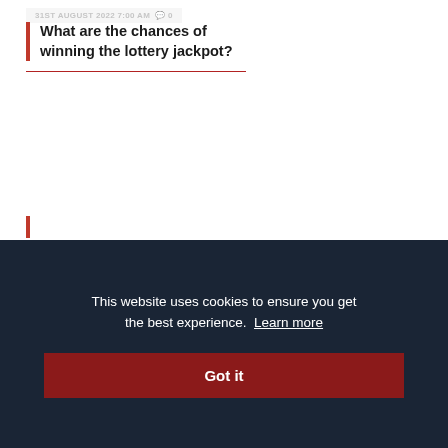31ST AUGUST 2022 7:00 AM  0
What are the chances of winning the lottery jackpot?
31ST AUGUST 2022 7:00 AM  0
Dos And Don'ts: Crypto Casino Marketing Strategy
[Figure (photo): Partial view of a third article with a warm-toned image (gold/brown tones), partially cut off at bottom]
This website uses cookies to ensure you get the best experience.  Learn more
Got it